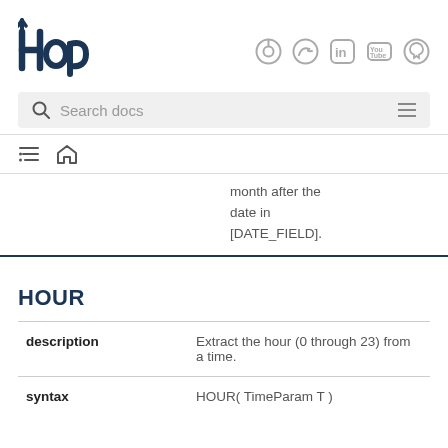HOP logo and social icons
Search docs
month after the date in [DATE_FIELD].
HOUR
| description | Extract the hour (0 through 23) from a time. |
| syntax | HOUR( TimeParam T ) |